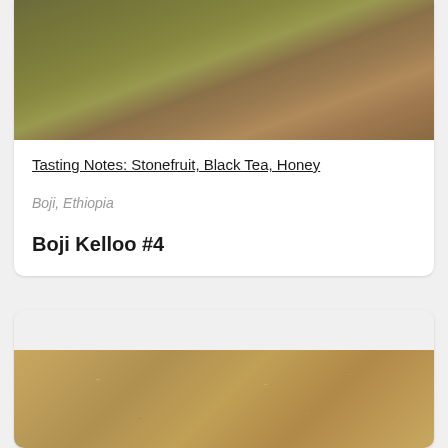[Figure (photo): Top portion of a coffee/landscape photo showing earthy ground with green and brown tones, partially visible at top of card]
Tasting Notes: Stonefruit, Black Tea, Honey
Boji, Ethiopia
Boji Kelloo #4
[Figure (photo): Close-up photo of raw green/yellow coffee beans spread across the frame, showing texture and individual bean shapes]